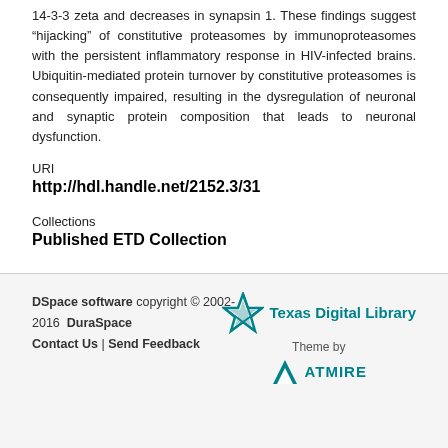14-3-3 zeta and decreases in synapsin 1. These findings suggest “hijacking” of constitutive proteasomes by immunoproteasomes with the persistent inflammatory response in HIV-infected brains. Ubiquitin-mediated protein turnover by constitutive proteasomes is consequently impaired, resulting in the dysregulation of neuronal and synaptic protein composition that leads to neuronal dysfunction.
URI
http://hdl.handle.net/2152.3/31
Collections
Published ETD Collection
DSpace software copyright © 2002 2016  DuraSpace  Contact Us | Send Feedback  Theme by  Texas Digital Library  ATMIRE